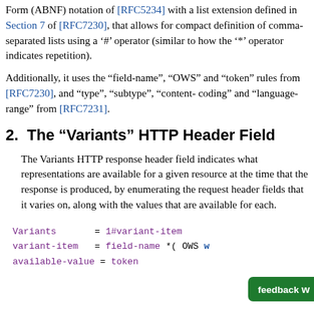Form (ABNF) notation of [RFC5234] with a list extension defined in Section 7 of [RFC7230], that allows for compact definition of comma-separated lists using a '#' operator (similar to how the '*' operator indicates repetition).
Additionally, it uses the “field-name”, “OWS” and “token” rules from [RFC7230], and “type”, “subtype”, “content-coding” and “language-range” from [RFC7231].
2. The “Variants” HTTP Header Field
The Variants HTTP response header field indicates what representations are available for a given resource at the time that the response is produced, by enumerating the request header fields that it varies on, along with the values that are available for each.
Variants       = 1#variant-item
variant-item   = field-name *( OWS
available-value = token